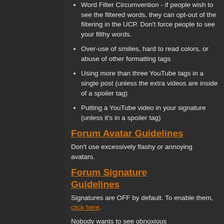Word Filter Circumvention - if people wish to see the filtered words, they can opt-out of the filtering in the UCP. Don't force people to see your filthy words.
Over-use of smilies, hard to read colors, or abuse of other formatting tags
Using more than three YouTube tags in a single post (unless the extra videos are inside of a spoiler tag)
Putting a YouTube video in your signature (unless it's in a spoiler tag)
Forum Avatar Guidelines
Don't use excessively flashy or annoying avatars.
Forum Signature Guidelines
Signatures are OFF by default. To enable them, click here.
Nobody wants to see obnoxious